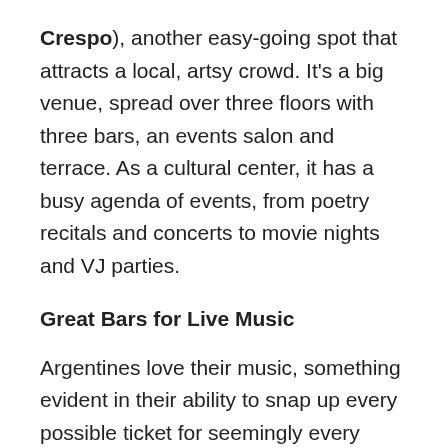Crespo), another easy-going spot that attracts a local, artsy crowd. It's a big venue, spread over three floors with three bars, an events salon and terrace. As a cultural center, it has a busy agenda of events, from poetry recitals and concerts to movie nights and VJ parties.
Great Bars for Live Music
Argentines love their music, something evident in their ability to snap up every possible ticket for seemingly every possible concert. Buenos Aires also has some great